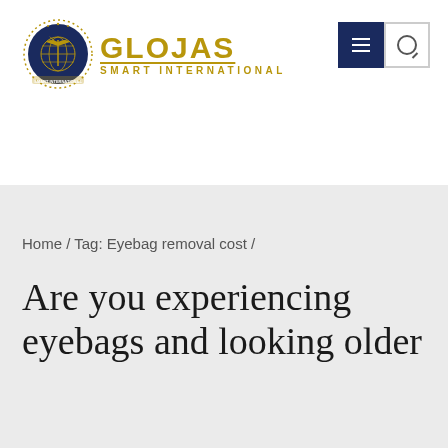[Figure (logo): Glojas Smart International logo with a circular emblem featuring a world map and palm tree in navy blue and gold, with the text GLOJAS in gold bold letters and SMART INTERNATIONAL below in gold]
Home / Tag: Eyebag removal cost /
Are you experiencing eyebags and looking older